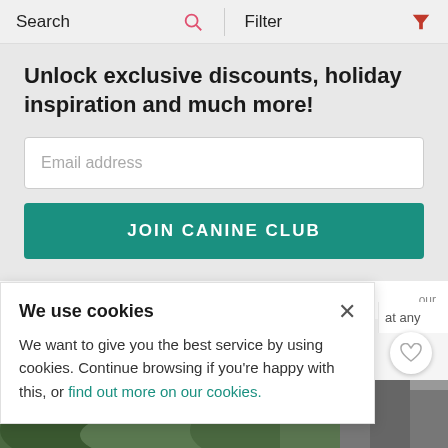Search   Filter
Unlock exclusive discounts, holiday inspiration and much more!
Email address
JOIN CANINE CLUB
We use cookies
We want to give you the best service by using cookies. Continue browsing if you're happy with this, or find out more on our cookies.